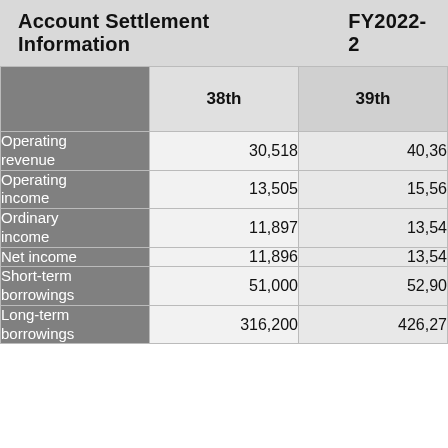Account Settlement Information    FY2022-2
|  | 38th | 39th |
| --- | --- | --- |
| Operating revenue | 30,518 | 40,36 |
| Operating income | 13,505 | 15,56 |
| Ordinary income | 11,897 | 13,54 |
| Net income | 11,896 | 13,54 |
| Short-term borrowings | 51,000 | 52,90 |
| Long-term borrowings | 316,200 | 426,27 |